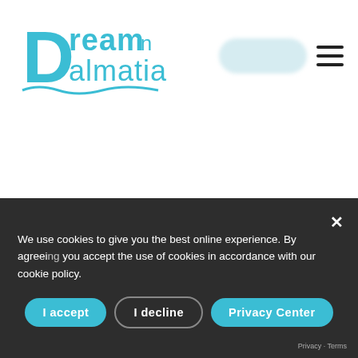[Figure (logo): Dream in Dalmatia logo in teal/cyan color with stylized D and wave]
UNIQUE OFFERS
We use cookies to give you the best online experience. By agreeing you accept the use of cookies in accordance with our cookie policy.
I accept
I decline
Privacy Center